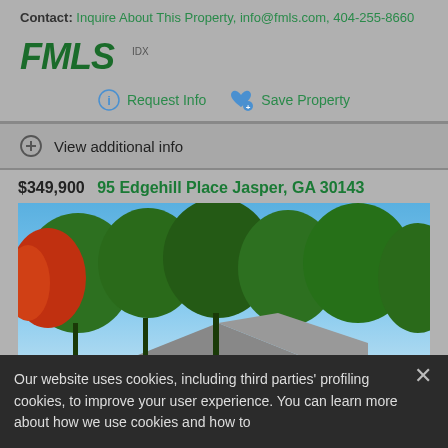Contact: Inquire About This Property, info@fmls.com, 404-255-8660
[Figure (logo): FMLS IDX logo in dark green italic bold text]
Request Info   Save Property
View additional info
$349,900  95 Edgehill Place Jasper, GA 30143
[Figure (photo): Exterior photo of property at 95 Edgehill Place, Jasper GA, showing roofline surrounded by green and autumn-colored trees against a blue sky]
Our website uses cookies, including third parties' profiling cookies, to improve your user experience. You can learn more about how we use cookies and how to